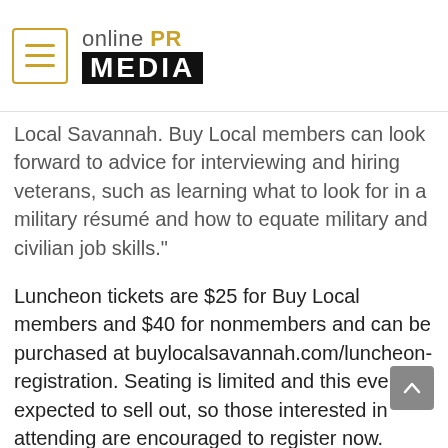[Figure (logo): Online PR Media logo with hamburger menu icon on left, 'online PR MEDIA' text on right where PR is gold and MEDIA is in a black bar]
Local Savannah. Buy Local members can look forward to advice for interviewing and hiring veterans, such as learning what to look for in a military résumé and how to equate military and civilian job skills."
Luncheon tickets are $25 for Buy Local members and $40 for nonmembers and can be purchased at buylocalsavannah.com/luncheon-registration. Seating is limited and this event is expected to sell out, so those interested in attending are encouraged to register now.
About Buy Local Savannah: Buy Local's